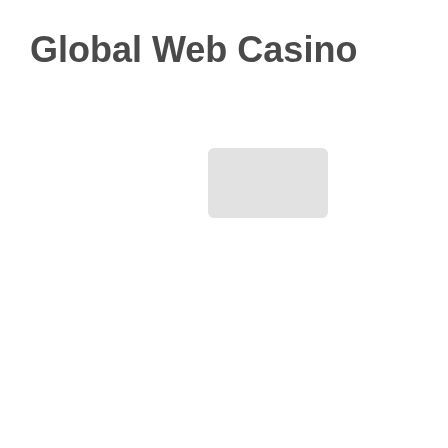Global Web Casino
[Figure (other): A small light gray rounded rectangle placeholder image or UI element, approximately 120x70px, positioned in the upper-center area of the page.]